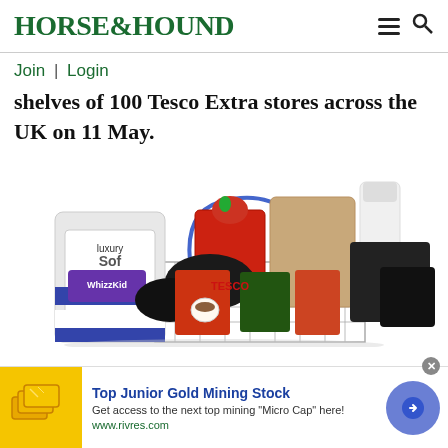HORSE&HOUND
Join | Login
shelves of 100 Tesco Extra stores across the UK on 11 May.
[Figure (photo): A wire shopping basket overflowing with various grocery items including bags of sugar, soft drink bottles, and packaged goods on a white background]
[Figure (infographic): Advertisement banner: Top Junior Gold Mining Stock. Get access to the next top mining "Micro Cap" here! www.rivres.com. Features image of gold bars and a blue circular arrow button.]